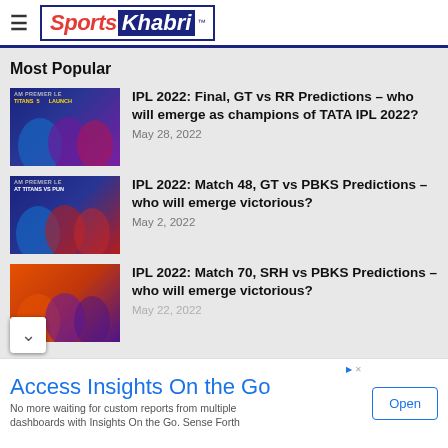Sports Khabri
Most Popular
[Figure (photo): IPL 2022 Final GT vs RR team photo]
IPL 2022: Final, GT vs RR Predictions – who will emerge as champions of TATA IPL 2022?
May 28, 2022
[Figure (photo): IPL 2022 Match 48 GT vs PBKS team photo]
IPL 2022: Match 48, GT vs PBKS Predictions – who will emerge victorious?
May 2, 2022
[Figure (photo): IPL 2022 Match 70 SRH vs PBKS team photo]
IPL 2022: Match 70, SRH vs PBKS Predictions – who will emerge victorious?
May 22, 2022
Access Insights On the Go
No more waiting for custom reports from multiple dashboards with Insights On the Go. Sense Forth
Open